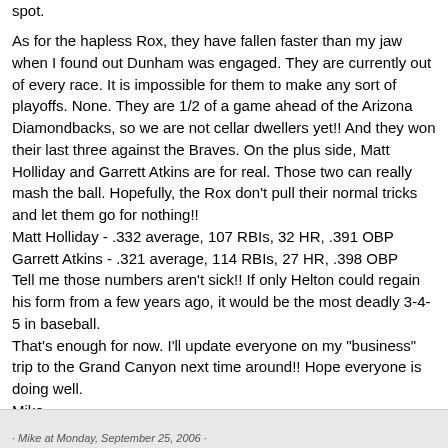spot.
As for the hapless Rox, they have fallen faster than my jaw when I found out Dunham was engaged. They are currently out of every race. It is impossible for them to make any sort of playoffs. None. They are 1/2 of a game ahead of the Arizona Diamondbacks, so we are not cellar dwellers yet!! And they won their last three against the Braves. On the plus side, Matt Holliday and Garrett Atkins are for real. Those two can really mash the ball. Hopefully, the Rox don't pull their normal tricks and let them go for nothing!!
Matt Holliday - .332 average, 107 RBIs, 32 HR, .391 OBP
Garrett Atkins - .321 average, 114 RBIs, 27 HR, .398 OBP
Tell me those numbers aren't sick!! If only Helton could regain his form from a few years ago, it would be the most deadly 3-4-5 in baseball.
That's enough for now. I'll update everyone on my "business" trip to the Grand Canyon next time around!! Hope everyone is doing well.
Mike
· Mike at Monday, September 25, 2006 ·